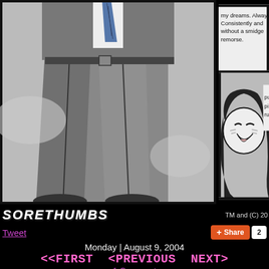[Figure (illustration): Comic strip webpage screenshot. Left panel shows lower half of a suited man with striped tie walking, grey/black ink style. Right panel shows a laughing anime-style woman with dark hair and speech bubble text: 'my dreams. Always. Consistently and without a smidge remorse.' and partial text 'pu pim ru' in another bubble.]
SORETHUMBS
TM and (C) 20
Tweet
Share  2
Monday | August 9, 2004
<<FIRST  <PREVIOUS  NEXT>
1 Comment